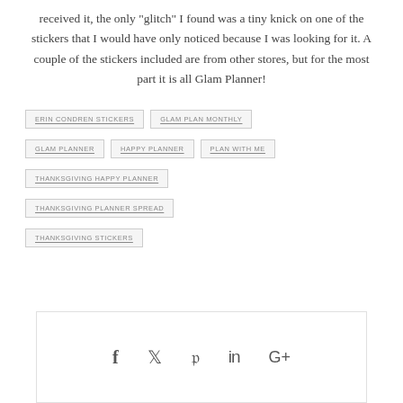received it, the only "glitch" I found was a tiny knick on one of the stickers that I would have only noticed because I was looking for it. A couple of the stickers included are from other stores, but for the most part it is all Glam Planner!
ERIN CONDREN STICKERS
GLAM PLAN MONTHLY
GLAM PLANNER
HAPPY PLANNER
PLAN WITH ME
THANKSGIVING HAPPY PLANNER
THANKSGIVING PLANNER SPREAD
THANKSGIVING STICKERS
[Figure (infographic): Social share bar with icons for Facebook, Twitter, Pinterest, LinkedIn, and Google+]